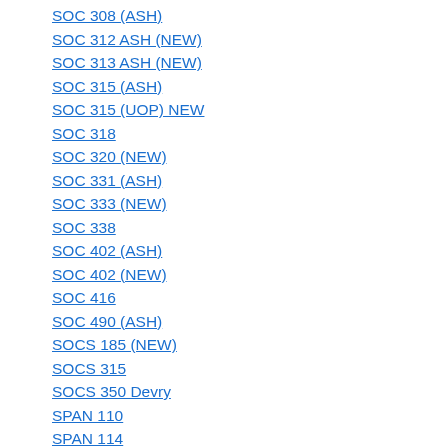SOC 308 (ASH)
SOC 312 ASH (NEW)
SOC 313 ASH (NEW)
SOC 315 (ASH)
SOC 315 (UOP) NEW
SOC 318
SOC 320 (NEW)
SOC 331 (ASH)
SOC 333 (NEW)
SOC 338
SOC 402 (ASH)
SOC 402 (NEW)
SOC 416
SOC 490 (ASH)
SOCS 185 (NEW)
SOCS 315
SOCS 350 Devry
SPAN 110
SPAN 114